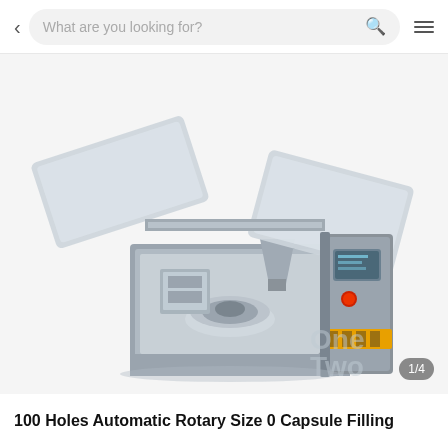< What are you looking for? [search] [menu]
[Figure (photo): Photograph of a 100 Holes Automatic Rotary Size 0 Capsule Filling Machine. The machine is industrial-grade, grey/silver in color, with an open top panel revealing internal mechanical components including a rotary table, powder dosing station, and hopper. A separate control panel is visible on the right with a touchscreen display and red/yellow indicator buttons. Image counter badge reads 1/4.]
100 Holes Automatic Rotary Size 0 Capsule Filling